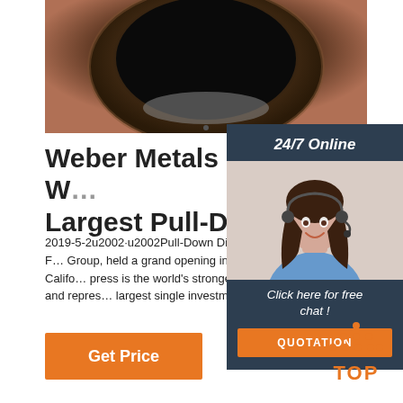[Figure (photo): Close-up photo of a large industrial die forging press cavity, showing a dark circular bowl/opening with brownish-red metallic surround]
Weber Metals Starts Up W… Largest Pull-Down Die ...
2019-5-2u2002·u2002Pull-Down Die Forging P… Weber Metals Inc., a U.S. subsidiary of Otto F… Group, held a grand opening in October 2018… 540 MN die forging press in Paramount, Califo… press is the world's strongest hydraulic pull-do… forging press in pit-mounted design and repres… largest single investment in the company's over 100-year history.
[Figure (photo): Female customer service agent wearing a headset, smiling, with '24/7 Online' header and 'Click here for free chat!' call to action and orange QUOTATION button, overlaid on dark blue sidebar]
Get Price
[Figure (other): Orange 'TOP' icon with dotted triangle/arrow above the text, indicating scroll-to-top button]